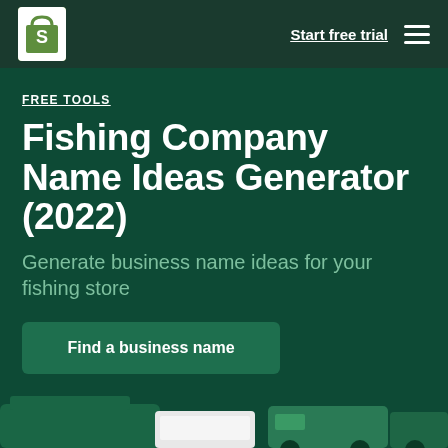Shopify logo | Start free trial | Menu
FREE TOOLS
Fishing Company Name Ideas Generator (2022)
Generate business name ideas for your fishing store
Find a business name
[Figure (illustration): Bottom decorative illustration showing stylized boats/store elements in teal and dark green tones]